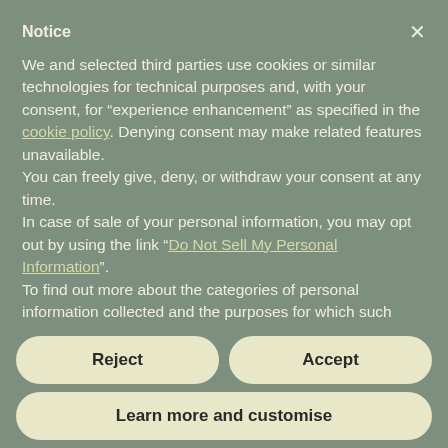Notice
We and selected third parties use cookies or similar technologies for technical purposes and, with your consent, for "experience enhancement" as specified in the cookie policy. Denying consent may make related features unavailable.
You can freely give, deny, or withdraw your consent at any time.
In case of sale of your personal information, you may opt out by using the link "Do Not Sell My Personal Information".
To find out more about the categories of personal information collected and the purposes for which such information will be used, please refer to our privacy policy.
Use the "Accept" button to consent to the use of such technologies. Use the "Reject" button or close this notice to
Reject
Accept
Learn more and customise